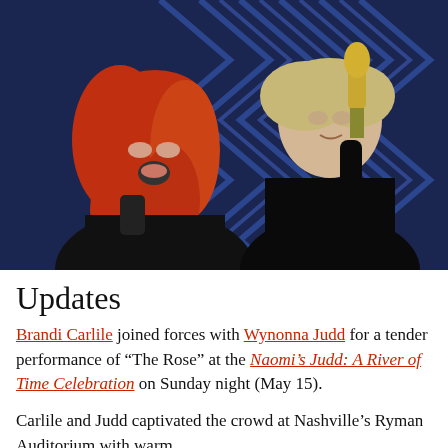[Figure (photo): Two performers on stage: a woman with red hair singing into a microphone on the left, and a person in black holding a gold microphone on the right. Blue chevron-patterned background lighting.]
Updates
Brandi Carlile joined forces with Wynonna Judd for a tender performance of “The Rose” at the Naomi’s Judd: A River of Time Celebration on Sunday night (May 15).
Carlile and Judd captivated the crowd at Nashville’s Ryman Auditorium with warm,